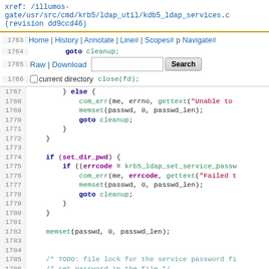xref: /illumos-gate/usr/src/cmd/krb5/ldap_util/kdb5_ldap_services.c (revision dd9ccd46)
[Figure (screenshot): Navigation bar with Home, History, Annotate, Line#, Scopes#, p#, Navigate# links, Raw, Download links, search input and button, and current directory checkbox]
Code listing lines 1763-1787 of kdb5_ldap_services.c showing C source code with close(fd), else block with com_err, memset, goto cleanup, if set_dir_pwd block with if errcode, memset, goto cleanup, memset(passwd,0,passwd_len), TODO comment, pfile=fopen(file_name,"r+F")